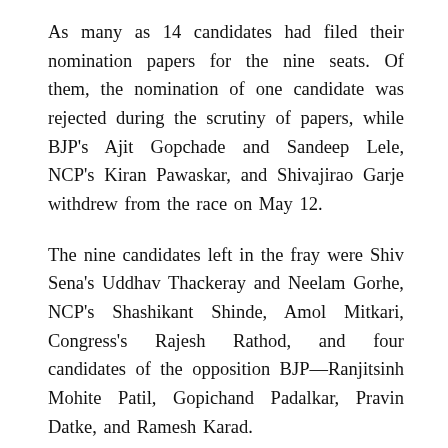As many as 14 candidates had filed their nomination papers for the nine seats. Of them, the nomination of one candidate was rejected during the scrutiny of papers, while BJP's Ajit Gopchade and Sandeep Lele, NCP's Kiran Pawaskar, and Shivajirao Garje withdrew from the race on May 12.
The nine candidates left in the fray were Shiv Sena's Uddhav Thackeray and Neelam Gorhe, NCP's Shashikant Shinde, Amol Mitkari, Congress's Rajesh Rathod, and four candidates of the opposition BJP—Ranjitsinh Mohite Patil, Gopichand Padalkar, Pravin Datke, and Ramesh Karad.